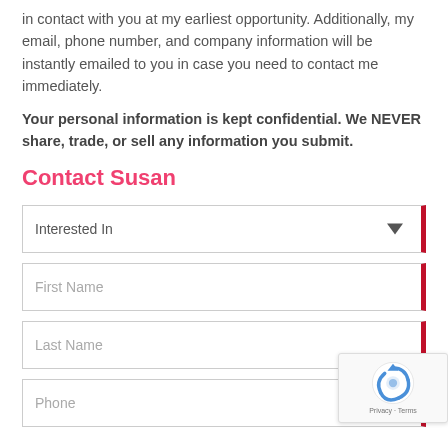in contact with you at my earliest opportunity. Additionally, my email, phone number, and company information will be instantly emailed to you in case you need to contact me immediately.
Your personal information is kept confidential. We NEVER share, trade, or sell any information you submit.
Contact Susan
[Figure (other): Web contact form with fields: Interested In (dropdown), First Name, Last Name, Phone, and a reCAPTCHA badge in bottom-right corner]